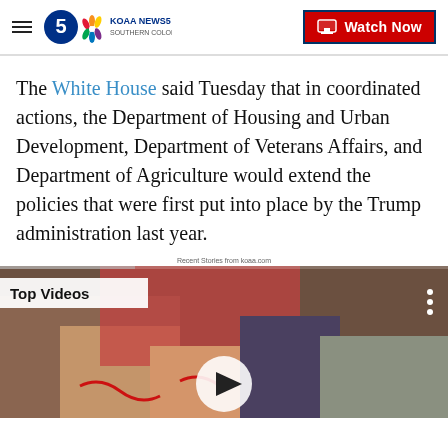KOAA News5 Southern Colorado — Watch Now
The White House said Tuesday that in coordinated actions, the Department of Housing and Urban Development, Department of Veterans Affairs, and Department of Agriculture would extend the policies that were first put into place by the Trump administration last year.
Recent Stories from koaa.com
[Figure (screenshot): Video player thumbnail showing 'Top Videos' label with a play button overlay, depicting people with red ribbons on their wrists.]